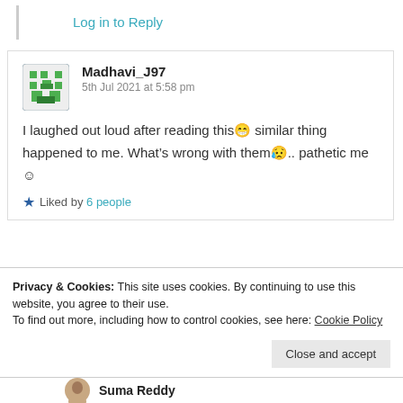Log in to Reply
Madhavi_J97
5th Jul 2021 at 5:58 pm

I laughed out loud after reading this 😄 similar thing happened to me. What's wrong with them 😅.. pathetic me 🙂
Liked by 6 people
Privacy & Cookies: This site uses cookies. By continuing to use this website, you agree to their use.
To find out more, including how to control cookies, see here: Cookie Policy
Close and accept
Suma Reddy